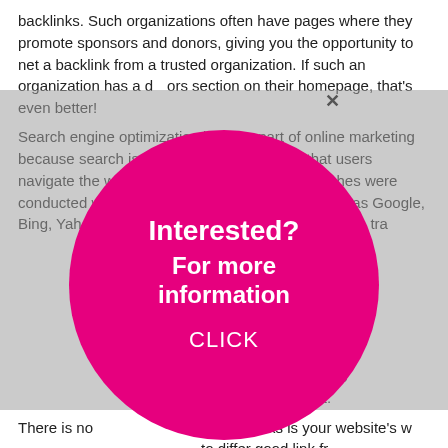backlinks. Such organizations often have pages where they promote sponsors and donors, giving you the opportunity to net a backlink from a trusted organization. If such an organization has a donors section on their homepage, that's even better! Search engine optimization is a key part of online marketing because search is one of the primary ways that users navigate the web. In 2014, over 2.5 trillion searches were conducted worldwide across search engines such as Google, Bing, Yahoo, Baidu, and Yandex. For most websites, traffic that comes from search engines—sometimes called 'natural' or 'organic' traffic—makes up the bulk of their overall website traffic. Social media marketing and content marketing if you're creating quality content and email marketing plays a role too. hundred or thousand subscribers who are increasing before you have even started. Use research tools like Google Analytics to help optimize your site at no cost. There is no doubt that backlinks is your website's way to differ good link from backlinks is a very trending topic. who wants to optimize their sites. There are a lot of different tools which
[Figure (other): A large magenta/hot-pink circle overlay advertisement with white bold text reading 'Interested? For more information CLICK', appearing over dimmed page content with a close (X) button.]